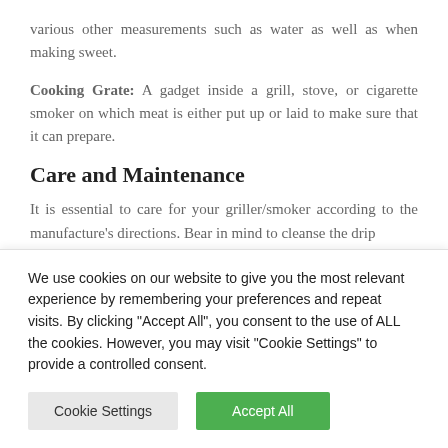various other measurements such as water as well as when making sweet.
Cooking Grate: A gadget inside a grill, stove, or cigarette smoker on which meat is either put up or laid to make sure that it can prepare.
Care and Maintenance
It is essential to care for your griller/smoker according to the manufacture's directions. Bear in mind to cleanse the drip
We use cookies on our website to give you the most relevant experience by remembering your preferences and repeat visits. By clicking "Accept All", you consent to the use of ALL the cookies. However, you may visit "Cookie Settings" to provide a controlled consent.
Cookie Settings | Accept All